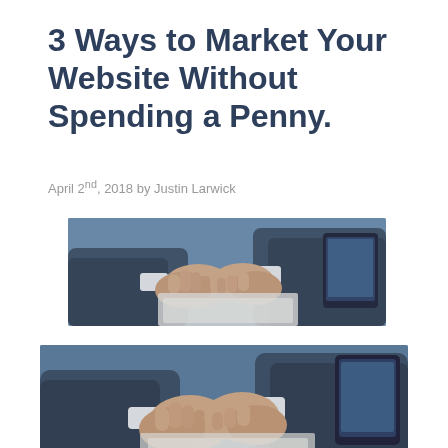3 Ways to Market Your Website Without Spending a Penny.
April 2nd, 2018 by Justin Larwick
[Figure (photo): Two businesspeople in suits shaking hands over documents, with one person holding a tablet device in the background]
[Figure (photo): Two businesspeople in suits shaking hands, with a tablet device visible in the background — larger cropped version of the same image]